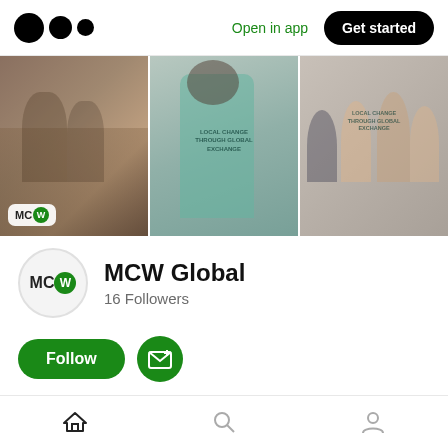[Figure (screenshot): Medium app top navigation bar with logo, Open in app link, and Get started button]
[Figure (photo): Three-panel cover photo collage: left panel shows African students at desks, middle and right panels show people wearing Local Change Through Global Exchange shirts, right panel shows group selfie]
MCW Global
16 Followers
[Figure (illustration): Green Follow button and green circular subscribe/email button]
Home
About
[Figure (illustration): Bottom navigation bar with home, search, and profile icons]